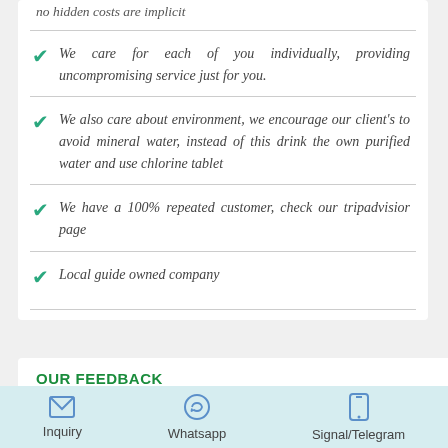no hidden costs are implicit
We care for each of you individually, providing uncompromising service just for you.
We also care about environment, we encourage our client's to avoid mineral water, instead of this drink the own purified water and use chlorine tablet
We have a 100% repeated customer, check our tripadvisior page
Local guide owned company
OUR FEEDBACK
Inquiry  Whatsapp  Signal/Telegram